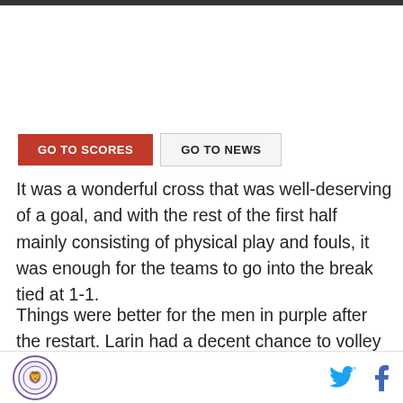[Figure (other): Navigation buttons: GO TO SCORES (red) and GO TO NEWS (grey outline)]
It was a wonderful cross that was well-deserving of a goal, and with the rest of the first half mainly consisting of physical play and fouls, it was enough for the teams to go into the break tied at 1-1.
Things were better for the men in purple after the restart. Larin had a decent chance to volley from a cross several minutes in but seemed to slip as he hit it
Logo and social icons (Twitter, Facebook)